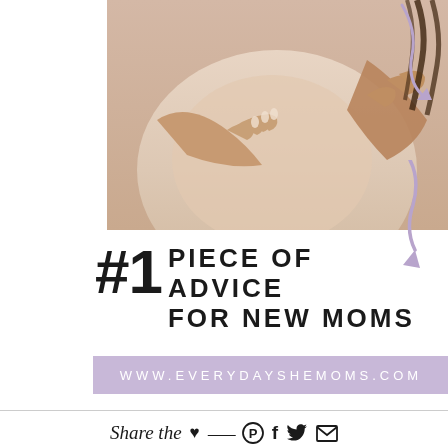[Figure (photo): Pregnant woman in beige/nude dress cradling her baby bump with both hands, close-up crop showing torso and hands, soft warm background]
#1 PIECE OF ADVICE FOR NEW MOMS
WWW.EVERYDAYSHEMOMS.COM
Share the ♥ — ⊕ f 🐦 ✉